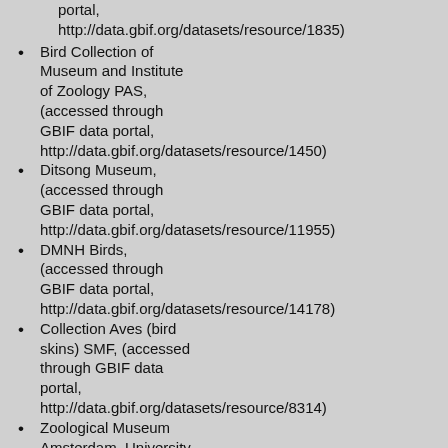portal, http://data.gbif.org/datasets/resource/1835)
Bird Collection of Museum and Institute of Zoology PAS, (accessed through GBIF data portal, http://data.gbif.org/datasets/resource/1450)
Ditsong Museum, (accessed through GBIF data portal, http://data.gbif.org/datasets/resource/11955)
DMNH Birds, (accessed through GBIF data portal, http://data.gbif.org/datasets/resource/14178)
Collection Aves (bird skins) SMF, (accessed through GBIF data portal, http://data.gbif.org/datasets/resource/8314)
Zoological Museum Amsterdam, University of Amsterdam (NL) - Aves, (accessed through GBIF data portal, http://data.gbif.org/datasets/resource/685)
Museum of Comparative Zoology,